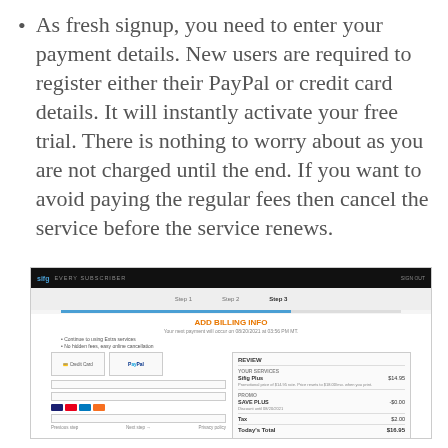As fresh signup, you need to enter your payment details. New users are required to register either their PayPal or credit card details. It will instantly activate your free trial. There is nothing to worry about as you are not charged until the end. If you want to avoid paying the regular fees then cancel the service before the service renews.
[Figure (screenshot): Screenshot of a billing registration page showing a multi-step signup form with credit card and PayPal payment options, input fields, and an order review panel.]